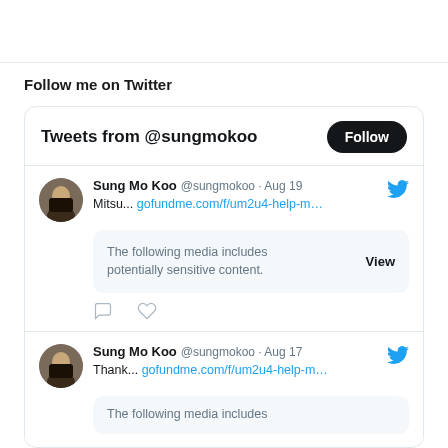Follow me on Twitter
[Figure (screenshot): Twitter widget showing tweets from @sungmokoo. Header says 'Tweets from @sungmokoo' with a Follow button. Two tweets visible: (1) Sung Mo Koo @sungmokoo · Aug 19: Mitsu... gofundme.com/f/um2u4-help-m... with sensitive media warning and View button, comment and like icons below. (2) Sung Mo Koo @sungmokoo · Aug 17: Thank... gofundme.com/f/um2u4-help-m... with partial sensitive media warning.]